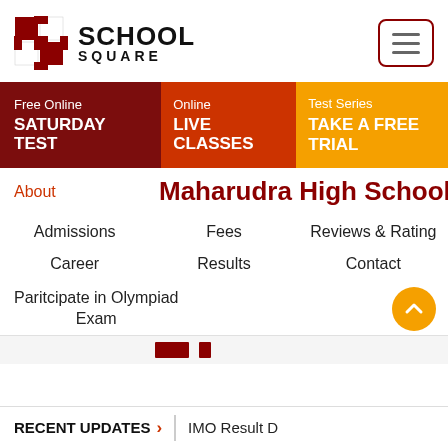[Figure (logo): School Square logo with red checkerboard grid icon and bold SCHOOL SQUARE text]
Free Online
SATURDAY TEST
Online
LIVE CLASSES
Test Series
TAKE A FREE TRIAL
About
Maharudra High School
Admissions
Fees
Reviews & Rating
Career
Results
Contact
Paritcipate in Olympiad Exam
RECENT UPDATES > IMO Result D